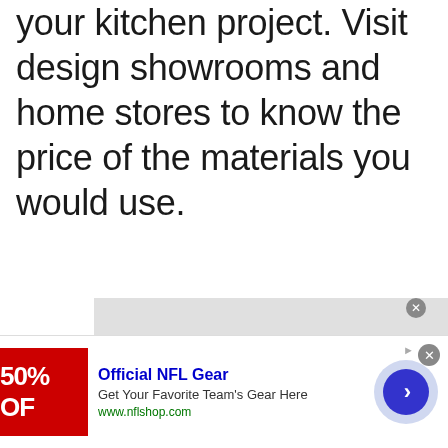your kitchen project. Visit design showrooms and home stores to know the price of the materials you would use.
[Figure (screenshot): Advertisement banner for Official NFL Gear showing a red promotional image with '50% OFF' text on the left, ad text in the middle reading 'Official NFL Gear - Get Your Favorite Team's Gear Here - www.nflshop.com', and a blue circular navigation arrow button on the right. There is a gray bar above the ad and close buttons visible.]